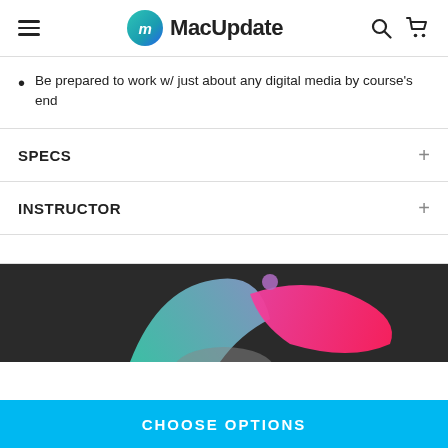MacUpdate
Be prepared to work w/ just about any digital media by course's end
SPECS
INSTRUCTOR
[Figure (illustration): Dark background with colorful abstract paint splash illustration showing teal/purple and hot pink fluid shapes]
CHOOSE OPTIONS